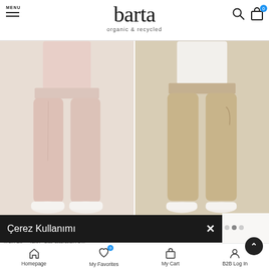barta organic & recycled — navigation header with MENU, logo, search and cart icons
[Figure (photo): Two female models wearing wide-leg cropped pants (culottes). Left model wears light pink/blush pants with white sneakers. Right model wears beige/khaki pants with white sneakers. White background in product photos.]
Çerez Kullanımı
TERA – Crop Lycel Linen Pa
Homepage | My Favorites (0) | My Cart | B2B Log In